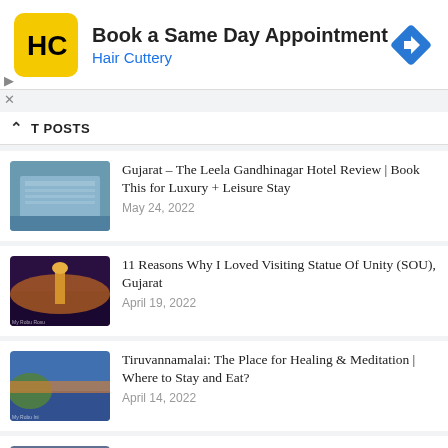[Figure (screenshot): Hair Cuttery advertisement banner: Book a Same Day Appointment]
T POSTS
Gujarat – The Leela Gandhinagar Hotel Review | Book This for Luxury + Leisure Stay
May 24, 2022
11 Reasons Why I Loved Visiting Statue Of Unity (SOU), Gujarat
April 19, 2022
Tiruvannamalai: The Place for Healing & Meditation | Where to Stay and Eat?
April 14, 2022
Planning to visit Statue of Unity, Gujarat? Here is the complete Tour Guide, Itinerary, Ticket Price, Booking Information & Facts!